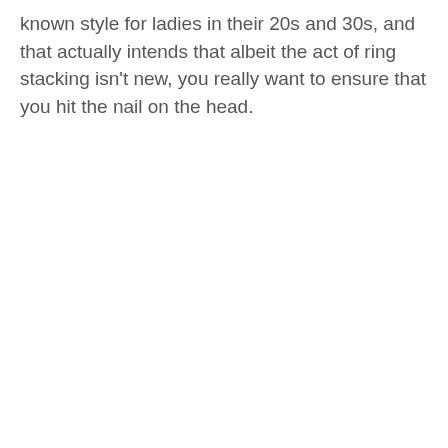known style for ladies in their 20s and 30s, and that actually intends that albeit the act of ring stacking isn't new, you really want to ensure that you hit the nail on the head.